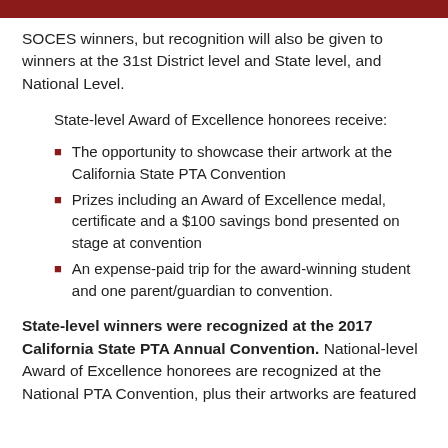SOCES winners, but recognition will also be given to winners at the 31st District level and State level, and National Level.
State-level Award of Excellence honorees receive:
The opportunity to showcase their artwork at the California State PTA Convention
Prizes including an Award of Excellence medal, certificate and a $100 savings bond presented on stage at convention
An expense-paid trip for the award-winning student and one parent/guardian to convention.
State-level winners were recognized at the 2017 California State PTA Annual Convention. National-level Award of Excellence honorees are recognized at the National PTA Convention, plus their artworks are featured